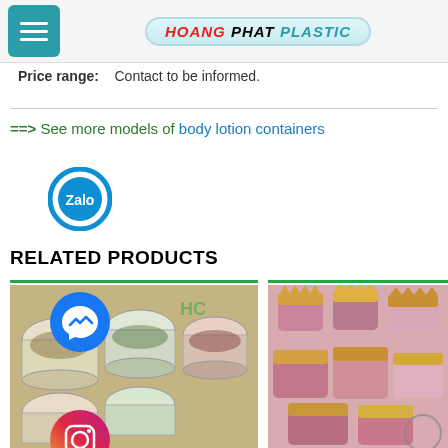HOANG PHAT PLASTIC
Price range:    Contact to be informed.
==> See more models of body lotion containers
[Figure (logo): Zalo circular icon button]
RELATED PRODUCTS
[Figure (photo): Plastic food storage containers with various dry foods and grains]
[Figure (photo): Pink and gold crown-shaped cosmetic jars]